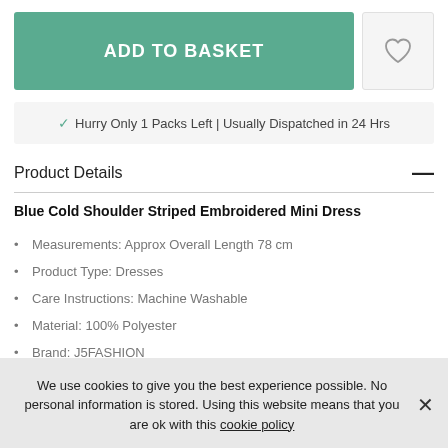[Figure (other): Add to Basket button (teal/green) and wishlist heart icon button]
✓ Hurry Only 1 Packs Left | Usually Dispatched in 24 Hrs
Product Details —
Blue Cold Shoulder Striped Embroidered Mini Dress
Measurements: Approx Overall Length 78 cm
Product Type: Dresses
Care Instructions: Machine Washable
Material: 100% Polyester
Brand: J5FASHION
Gender: Female
We use cookies to give you the best experience possible. No personal information is stored. Using this website means that you are ok with this cookie policy